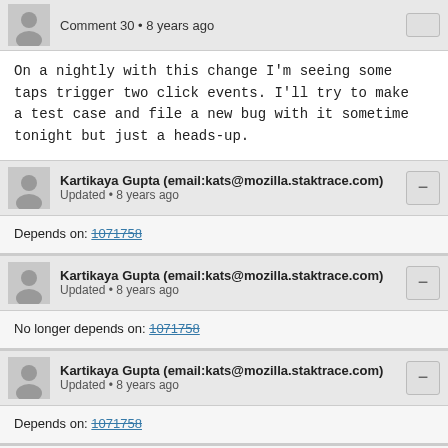Comment 30 • 8 years ago
On a nightly with this change I'm seeing some taps trigger two click events. I'll try to make a test case and file a new bug with it sometime tonight but just a heads-up.
Kartikaya Gupta (email:kats@mozilla.staktrace.com)
Updated • 8 years ago
Depends on: 1071758
Kartikaya Gupta (email:kats@mozilla.staktrace.com)
Updated • 8 years ago
No longer depends on: 1071758
Kartikaya Gupta (email:kats@mozilla.staktrace.com)
Updated • 8 years ago
Depends on: 1071758